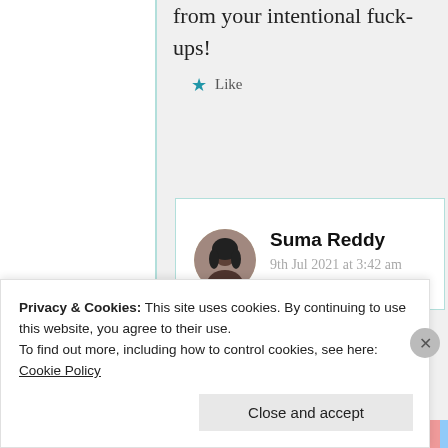from your intentional fuck-ups!
★ Like
Suma Reddy
9th Jul 2021 at 3:42 am
God's promise it wasn't
Privacy & Cookies: This site uses cookies. By continuing to use this website, you agree to their use.
To find out more, including how to control cookies, see here: Cookie Policy
Close and accept